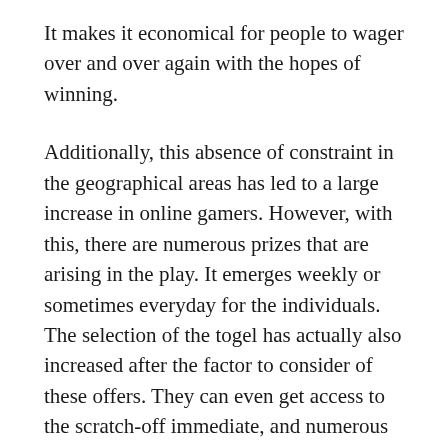It makes it economical for people to wager over and over again with the hopes of winning.
Additionally, this absence of constraint in the geographical areas has led to a large increase in online gamers. However, with this, there are numerous prizes that are arising in the play. It emerges weekly or sometimes everyday for the individuals. The selection of the togel has actually also increased after the factor to consider of these offers. They can even get access to the scratch-off immediate, and numerous other lotto spin video games. This is the way by which millions of interesting people are associated with playing the lottery game with the proper internet connection.